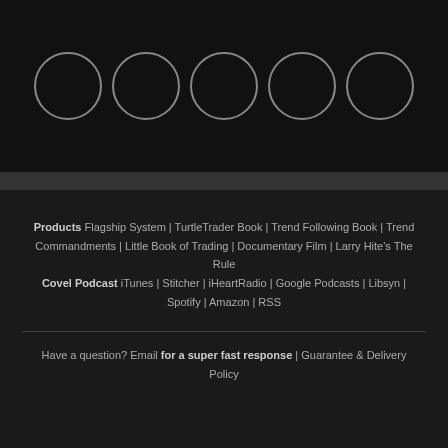[Figure (illustration): Five empty circles arranged in a row on a dark background]
Products Flagship System | TurtleTrader Book | Trend Following Book | Trend Commandments | Little Book of Trading | Documentary Film | Larry Hite's The Rule Covel Podcast iTunes | Stitcher | iHeartRadio | Google Podcasts | Libsyn | Spotify | Amazon | RSS
Have a question? Email for a super fast response | Guarantee & Delivery Policy